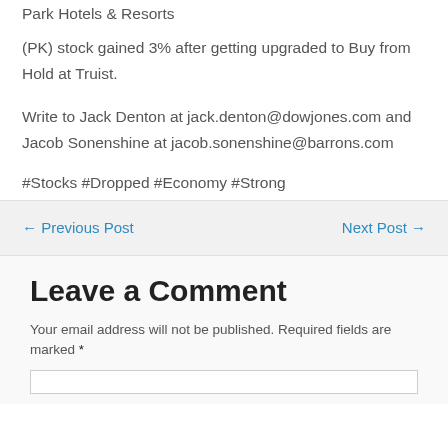Park Hotels & Resorts (PK) stock gained 3% after getting upgraded to Buy from Hold at Truist.
Write to Jack Denton at jack.denton@dowjones.com and Jacob Sonenshine at jacob.sonenshine@barrons.com
#Stocks #Dropped #Economy #Strong
← Previous Post
Next Post →
Leave a Comment
Your email address will not be published. Required fields are marked *